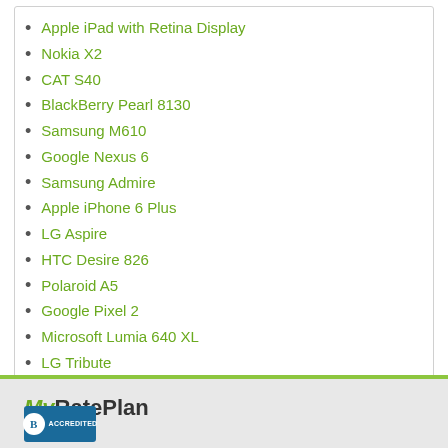Apple iPad with Retina Display
Nokia X2
CAT S40
BlackBerry Pearl 8130
Samsung M610
Google Nexus 6
Samsung Admire
Apple iPhone 6 Plus
LG Aspire
HTC Desire 826
Polaroid A5
Google Pixel 2
Microsoft Lumia 640 XL
LG Tribute
MyRatePlan